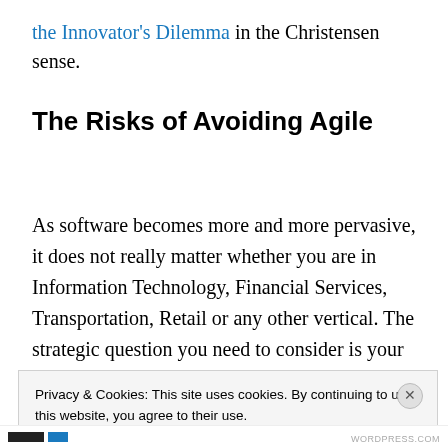the Innovator's Dilemma in the Christensen sense.
The Risks of Avoiding Agile
As software becomes more and more pervasive, it does not really matter whether you are in Information Technology, Financial Services, Transportation, Retail or any other vertical. The strategic question you need to consider is your company's competitive position in the
Privacy & Cookies: This site uses cookies. By continuing to use this website, you agree to their use.
To find out more, including how to control cookies, see here: Cookie Policy